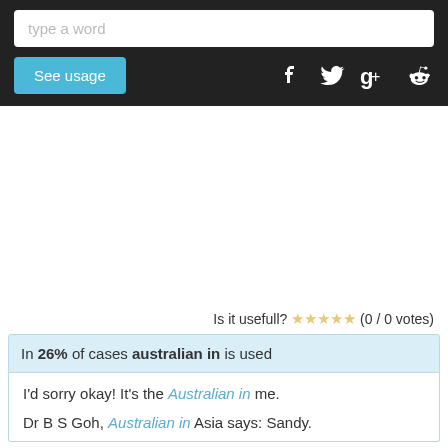[Figure (screenshot): Search bar with placeholder text 'type a word']
[Figure (screenshot): 'See usage' button and social media icons (Facebook, Twitter, Google+, Reddit) on dark header bar]
Is it usefull? ☆☆☆☆☆ (0 / 0 votes)
In 26% of cases australian in is used
I'd sorry okay! It's the Australian in me.
Dr B S Goh, Australian in Asia says: Sandy.